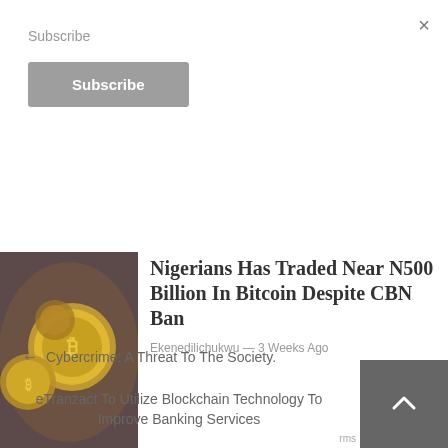Subscribe
Subscribe
[Figure (photo): Gold bitcoin coins on dark background]
Nigerians Has Traded Near N500 Billion In Bitcoin Despite CBN Ban
Ekenedilichukwu — 3 Weeks Ago
← Cybercrime: A Threat To The Society.
eTranzact To Utilize Blockchain Technology To Improve Banking Services